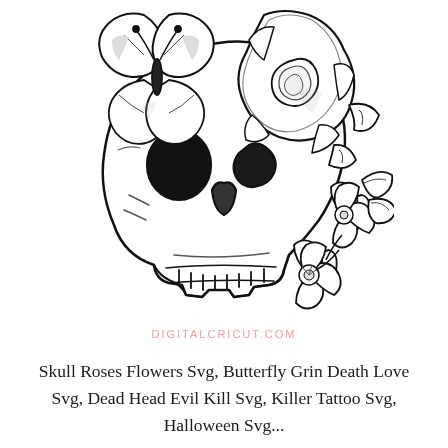[Figure (illustration): Black and white detailed illustration of a human skull decorated with roses, hibiscus flowers, and a butterfly. The skull faces slightly left with a grinning expression showing teeth. A large rose blooms on the upper right of the skull, a butterfly rests on the upper left, and hibiscus flowers with leaves appear on the lower right. The style is tattoo-art / SVG line art.]
DIGITALCRICUT.COM
Skull Roses Flowers Svg, Butterfly Grin Death Love Svg, Dead Head Evil Kill Svg, Killer Tattoo Svg, Halloween Svg...